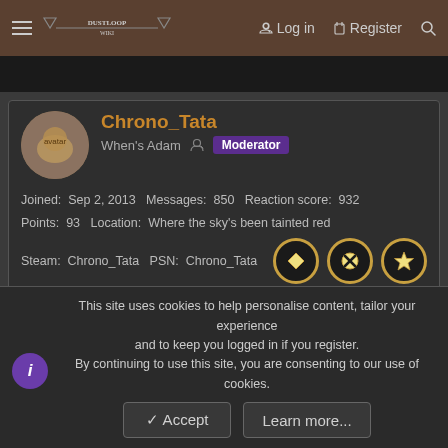Forum site navigation bar with login and register links
Chrono_Tata
When's Adam  Moderator
Joined: Sep 2, 2013  Messages: 850  Reaction score: 932
Points: 93  Location: Where the sky's been tainted red
Steam: Chrono_Tata  PSN: Chrono_Tata
May 27, 2022  #14
(Reposting from the Discord) Screenshots of all Black Dahlia's normals and other notable information we have so far (by Taterade)
Link
This site uses cookies to help personalise content, tailor your experience and to keep you logged in if you register.
By continuing to use this site, you are consenting to our use of cookies.
Accept   Learn more...